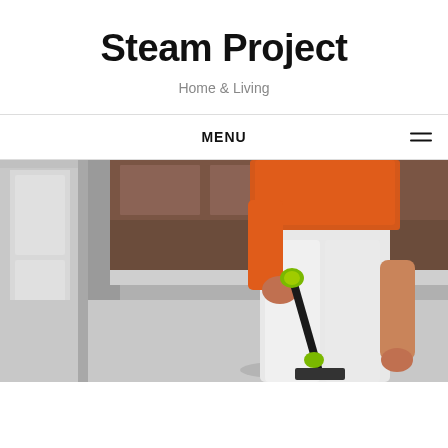Steam Project
Home & Living
MENU
[Figure (photo): A person wearing an orange top and white pants using a steam mop/cleaner on a kitchen floor. The steam mop has a black pole with a green/yellow connector. Kitchen appliances and cabinetry visible in the background.]